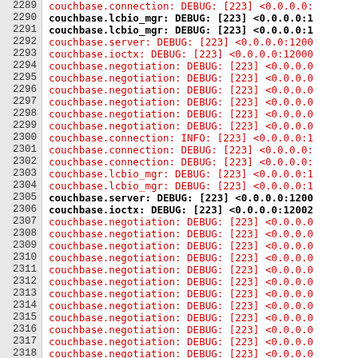| line | log |
| --- | --- |
| 2289 | couchbase.connection: DEBUG: [223] <0.0.0.0: |
| 2290 | couchbase.lcbio_mgr: DEBUG: [223] <0.0.0.0:1 |
| 2291 | couchbase.lcbio_mgr: DEBUG: [223] <0.0.0.0:1 |
| 2292 | couchbase.server: DEBUG: [223] <0.0.0.0:1200 |
| 2293 | couchbase.ioctx: DEBUG: [223] <0.0.0.0:12000 |
| 2294 | couchbase.negotiation: DEBUG: [223] <0.0.0.0 |
| 2295 | couchbase.negotiation: DEBUG: [223] <0.0.0.0 |
| 2296 | couchbase.negotiation: DEBUG: [223] <0.0.0.0 |
| 2297 | couchbase.negotiation: DEBUG: [223] <0.0.0.0 |
| 2298 | couchbase.negotiation: DEBUG: [223] <0.0.0.0 |
| 2299 | couchbase.negotiation: DEBUG: [223] <0.0.0.0 |
| 2300 | couchbase.connection: INFO: [223] <0.0.0.0:1 |
| 2301 | couchbase.connection: DEBUG: [223] <0.0.0.0: |
| 2302 | couchbase.connection: DEBUG: [223] <0.0.0.0: |
| 2303 | couchbase.lcbio_mgr: DEBUG: [223] <0.0.0.0:1 |
| 2304 | couchbase.lcbio_mgr: DEBUG: [223] <0.0.0.0:1 |
| 2305 | couchbase.server: DEBUG: [223] <0.0.0.0:1200 |
| 2306 | couchbase.ioctx: DEBUG: [223] <0.0.0.0:12002 |
| 2307 | couchbase.negotiation: DEBUG: [223] <0.0.0.0 |
| 2308 | couchbase.negotiation: DEBUG: [223] <0.0.0.0 |
| 2309 | couchbase.negotiation: DEBUG: [223] <0.0.0.0 |
| 2310 | couchbase.negotiation: DEBUG: [223] <0.0.0.0 |
| 2311 | couchbase.negotiation: DEBUG: [223] <0.0.0.0 |
| 2312 | couchbase.negotiation: DEBUG: [223] <0.0.0.0 |
| 2313 | couchbase.negotiation: DEBUG: [223] <0.0.0.0 |
| 2314 | couchbase.negotiation: DEBUG: [223] <0.0.0.0 |
| 2315 | couchbase.negotiation: DEBUG: [223] <0.0.0.0 |
| 2316 | couchbase.negotiation: DEBUG: [223] <0.0.0.0 |
| 2317 | couchbase.negotiation: DEBUG: [223] <0.0.0.0 |
| 2318 | couchbase.negotiation: DEBUG: [223] <0.0.0.0 |
| 2319 | couchbase.negotiation: DEBUG: [223] <0.0.0.0 |